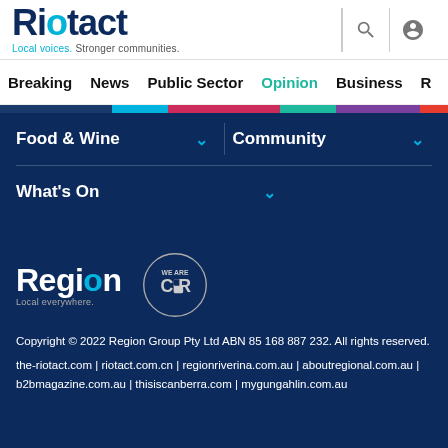[Figure (logo): Riotact logo with tagline 'Local voices. Stronger communities.']
Breaking | News | Public Sector | Opinion | Business | R
[Figure (other): Colored category strip bar]
Food & Wine ∨
Community ∨
What's On ∨
[Figure (logo): Region logo - Local everywhere. and WE ARE CBR badge]
Copyright © 2022 Region Group Pty Ltd ABN 85 168 887 232. All rights reserved.
the-riotact.com | riotact.com.cn | regionriverina.com.au | aboutregional.com.au | b2bmagazine.com.au | thisiscanberra.com | mygungahlin.com.au